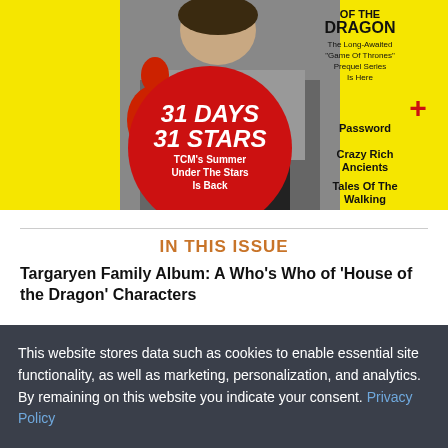[Figure (photo): Magazine cover with yellow background, person holding red guitar, red circle overlay reading '31 DAYS 31 STARS TCM's Summer Under The Stars Is Back', right panel showing 'HOUSE OF THE DRAGON', 'Password+', 'Crazy Rich Ancients', 'Tales Of The Walking Dead']
IN THIS ISSUE
Targaryen Family Album: A Who's Who of 'House of the Dragon' Characters
Wrexham AFC Exec Humphrey Ker Gives an Insider's Look at
This website stores data such as cookies to enable essential site functionality, as well as marketing, personalization, and analytics. By remaining on this website you indicate your consent. Privacy Policy